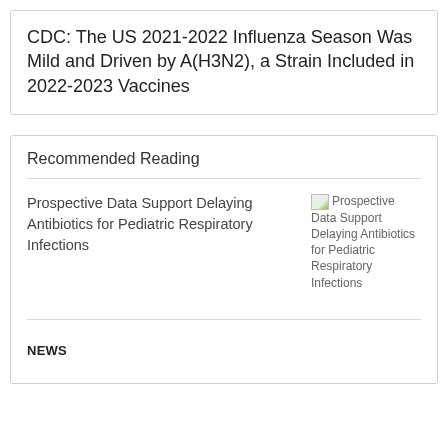CDC: The US 2021-2022 Influenza Season Was Mild and Driven by A(H3N2), a Strain Included in 2022-2023 Vaccines
Recommended Reading
Prospective Data Support Delaying Antibiotics for Pediatric Respiratory Infections
[Figure (illustration): Broken image placeholder with alt text: Prospective Data Support Delaying Antibiotics for Pediatric Respiratory Infections]
NEWS